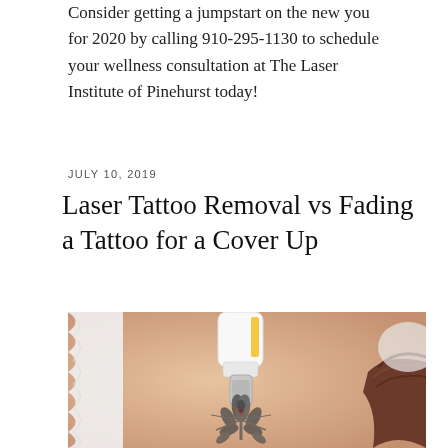Consider getting a jumpstart on the new you for 2020 by calling 910-295-1130 to schedule your wellness consultation at The Laser Institute of Pinehurst today!
JULY 10, 2019
Laser Tattoo Removal vs Fading a Tattoo for a Cover Up
[Figure (photo): Close-up photo of laser tattoo removal procedure being performed on a person's back. A white laser device is pointed at a floral/lotus tattoo on the person's upper back/neck area. A red laser dot is visible on the tattoo. The person has brown hair visible on the right side.]